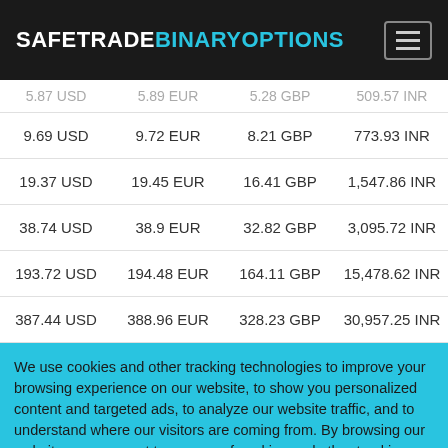SAFETRADEBINARYOPTIONS
| USD | EUR | GBP | INR |
| --- | --- | --- | --- |
| 5.87 USD | 5.89 EUR | 5.28 GBP | 509.57 INR |
| 9.69 USD | 9.72 EUR | 8.21 GBP | 773.93 INR |
| 19.37 USD | 19.45 EUR | 16.41 GBP | 1,547.86 INR |
| 38.74 USD | 38.9 EUR | 32.82 GBP | 3,095.72 INR |
| 193.72 USD | 194.48 EUR | 164.11 GBP | 15,478.62 INR |
| 387.44 USD | 388.96 EUR | 328.23 GBP | 30,957.25 INR |
We use cookies and other tracking technologies to improve your browsing experience on our website, to show you personalized content and targeted ads, to analyze our website traffic, and to understand where our visitors are coming from. By browsing our website, you consent to our use of cookies and other tracking technologies. Learn more